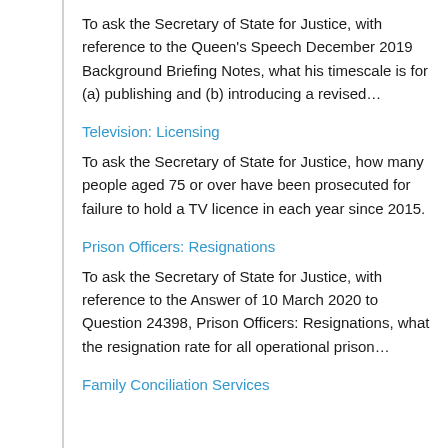To ask the Secretary of State for Justice, with reference to the Queen's Speech December 2019 Background Briefing Notes, what his timescale is for (a) publishing and (b) introducing a revised…
Television: Licensing
To ask the Secretary of State for Justice, how many people aged 75 or over have been prosecuted for failure to hold a TV licence in each year since 2015.
Prison Officers: Resignations
To ask the Secretary of State for Justice, with reference to the Answer of 10 March 2020 to Question 24398, Prison Officers: Resignations, what the resignation rate for all operational prison…
Family Conciliation Services